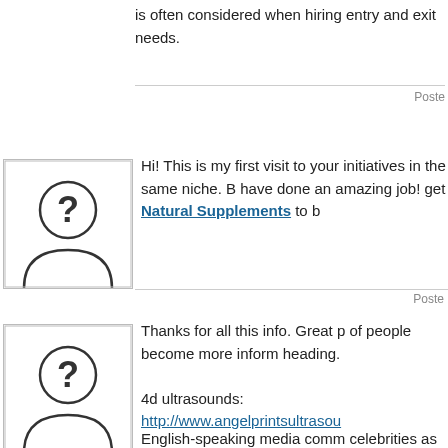is often considered when hiring entry and exit needs.
Posted
[Figure (illustration): Anonymous user avatar icon with question mark silhouette]
Hi! This is my first visit to your initiatives in the same niche. B have done an amazing job! get Natural Supplements to b
Posted
[Figure (illustration): Anonymous user avatar icon with question mark silhouette]
Thanks for all this info. Great p of people become more inform heading.
4d ultrasounds:
http://www.angelprintsultrasou
Posted
[Figure (illustration): Decorative blue wavy lines avatar/thumbnail]
English-speaking media comm celebrities as belonging to the